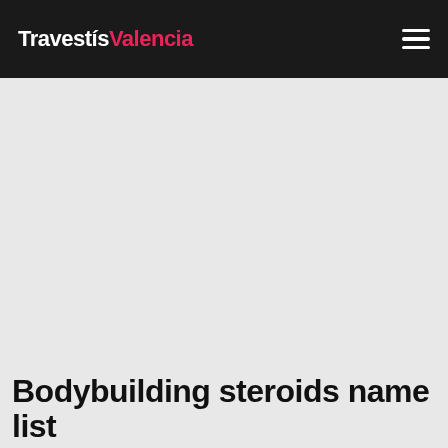TravestísValencia
Bodybuilding steroids name list